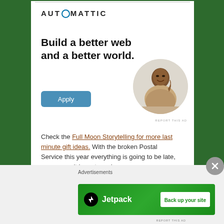[Figure (logo): Automattic logo with stylized 'O' as a circle with teal border]
Build a better web and a better world.
[Figure (illustration): Round cropped photo of a man sitting at a desk, looking upward thoughtfully, wearing a beige shirt]
Apply
REPORT THIS AD
Check the Full Moon Storytelling for more last minute gift ideas. With the broken Postal Service this year everything is going to be late, so you won't have to make excuses.
Advertisements
[Figure (advertisement): Jetpack green banner ad with lightning bolt icon and 'Back up your site' white button]
REPORT THIS AD